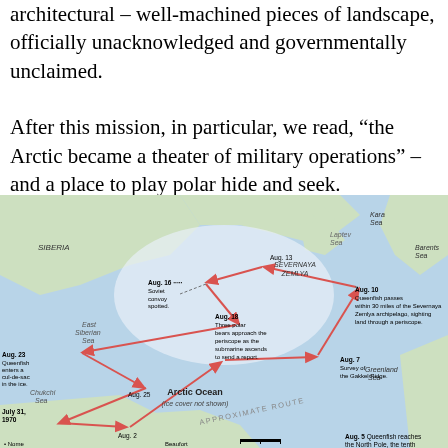architectural – well-machined pieces of landscape, officially unacknowledged and governmentally unclaimed. After this mission, in particular, we read, "the Arctic became a theater of military operations" – and a place to play polar hide and seek.
[Figure (map): Map of the Arctic Ocean showing the route of USS Queenfish submarine in 1970. Route marked with red arrows passes through Chukchi Sea, Arctic Ocean, near Severnaya Zemlya, with dated annotations: July 31 1970, Aug. 2, Aug. 5 (North Pole), Aug. 7 (Gakkel Ridge survey), Aug. 10 (Severnaya Zemlya), Aug. 13, Aug. 16 (Soviet convoy spotted), Aug. 18 (polar bears approach periscope), Aug. 23 (cul-de-sac in ice), Aug. 25. Labels include Siberia, Laptev Sea, Kara Sea, Barents Sea, East Siberian Sea, Chukchi Sea, Greenland Sea, Arctic Ocean (ice cover not shown), SEVERNAYA ZEMLYA, Nome, Beaufort. Text 'APPROXIMATE ROUTE' appears diagonally.]